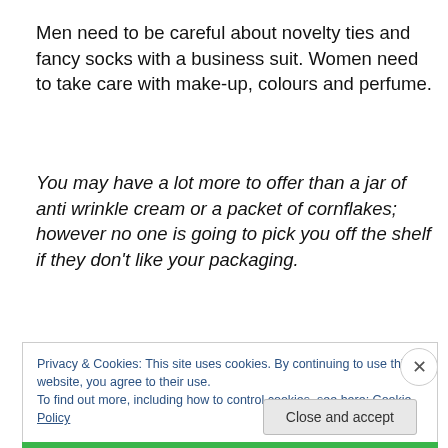Men need to be careful about novelty ties and fancy socks with a business suit. Women need to take care with make-up, colours and perfume.
You may have a lot more to offer than a jar of anti wrinkle cream or a packet of cornflakes; however no one is going to pick you off the shelf if they don't like your packaging.
Privacy & Cookies: This site uses cookies. By continuing to use this website, you agree to their use.
To find out more, including how to control cookies, see here: Cookie Policy